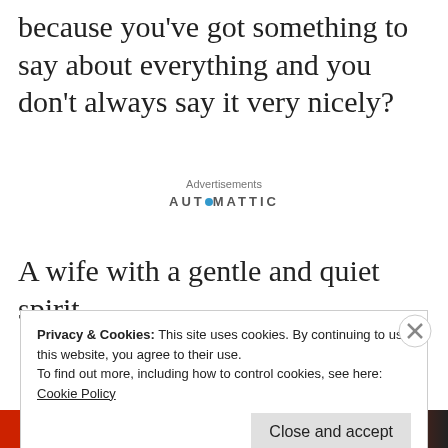because you’ve got something to say about everything and you don’t always say it very nicely?
Advertisements
[Figure (logo): Automattic logo with circular dot replacing letter O]
A wife with a gentle and quiet spirit
Privacy & Cookies: This site uses cookies. By continuing to use this website, you agree to their use.
To find out more, including how to control cookies, see here: Cookie Policy
Close and accept